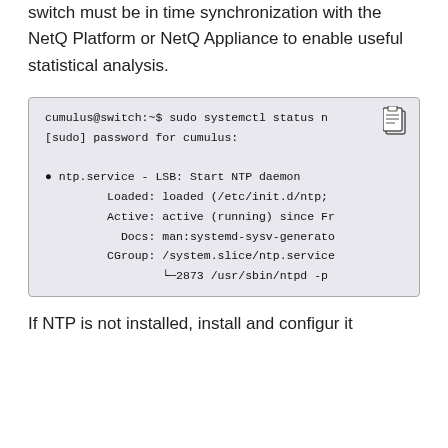switch must be in time synchronization with the NetQ Platform or NetQ Appliance to enable useful statistical analysis.
[Figure (screenshot): Terminal code block showing: cumulus@switch:~$ sudo systemctl status n
[sudo] password for cumulus:
● ntp.service - LSB: Start NTP daemon
   Loaded: loaded (/etc/init.d/ntp;
   Active: active (running) since Fr
     Docs: man:systemd-sysv-generato
  CGroup: /system.slice/ntp.service
          └─2873 /usr/sbin/ntpd -p]
If NTP is not installed, install and configur it